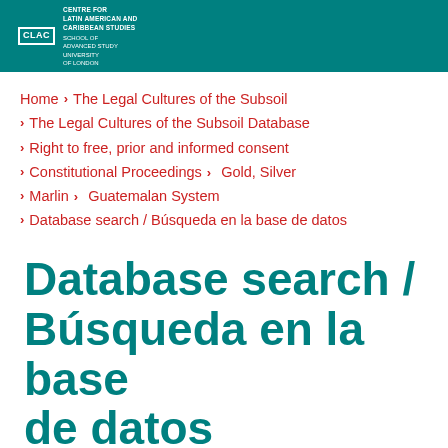[Figure (logo): CLAC Centre for Latin American and Caribbean Studies, School of Advanced Study, University of London logo on teal header bar]
Home › The Legal Cultures of the Subsoil
› The Legal Cultures of the Subsoil Database
› Right to free, prior and informed consent
› Constitutional Proceedings › Gold, Silver
› Marlin › Guatemalan System
› Database search / Búsqueda en la base de datos
Database search / Búsqueda en la base de datos